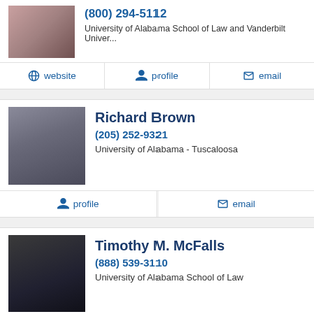(800) 294-5112
University of Alabama School of Law and Vanderbilt Univer...
website  profile  email
Richard Brown
(205) 252-9321
University of Alabama - Tuscaloosa
profile  email
Timothy M. McFalls
(888) 539-3110
University of Alabama School of Law
profile